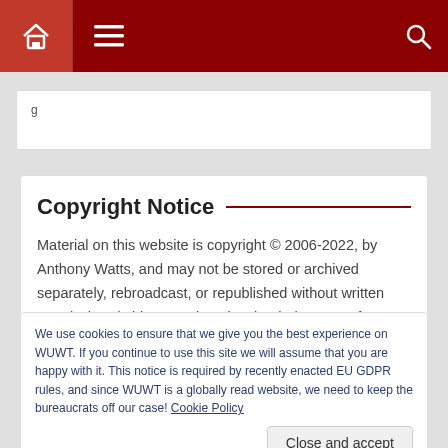[Figure (screenshot): Top navigation bar with dark red background, home icon, hamburger menu icon, and search icon]
g
Copyright Notice
Material on this website is copyright © 2006-2022, by Anthony Watts, and may not be stored or archived separately, rebroadcast, or republished without written permission. (Miriam O'Brien aka slandering “Sou” from Hotwhopper, that means you.)
We use cookies to ensure that we give you the best experience on WUWT. If you continue to use this site we will assume that you are happy with it. This notice is required by recently enacted EU GDPR rules, and since WUWT is a globally read website, we need to keep the bureaucrats off our case! Cookie Policy
copyrights of their respective company or organization